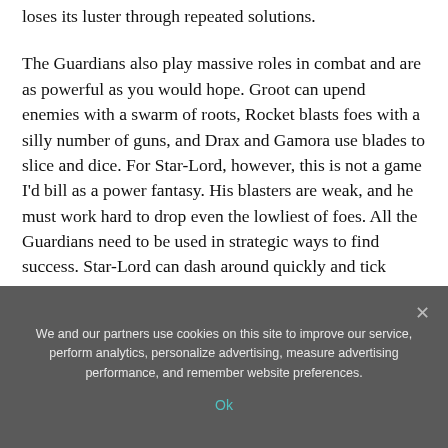loses its luster through repeated solutions.
The Guardians also play massive roles in combat and are as powerful as you would hope. Groot can upend enemies with a swarm of roots, Rocket blasts foes with a silly number of guns, and Drax and Gamora use blades to slice and dice. For Star-Lord, however, this is not a game I'd bill as a power fantasy. His blasters are weak, and he must work hard to drop even the lowliest of foes. All the Guardians need to be used in strategic ways to find success. Star-Lord can dash around quickly and tick away at the enemy's
We and our partners use cookies on this site to improve our service, perform analytics, personalize advertising, measure advertising performance, and remember website preferences.
Ok